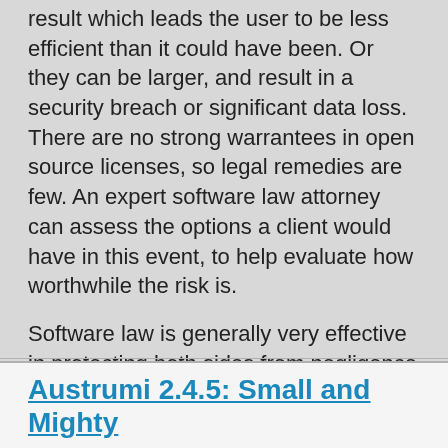result which leads the user to be less efficient than it could have been. Or they can be larger, and result in a security breach or significant data loss. There are no strong warrantees in open source licenses, so legal remedies are few. An expert software law attorney can assess the options a client would have in this event, to help evaluate how worthwhile the risk is.
Software law is generally very effective in protecting both sides from negligence and dishonesty. However, in the case of open source software, companies need to exercise much more caution in everything they do.
Software Law for Open Source Licensing and Liability Is a Unique Field of Law. Invest in Understanding It Before Using It. Learn More at http://nefflaw.com/.
DarkDuck  at 23:55   No comments:
29 Dec 2011
Austrumi 2.4.5: Small and Mighty